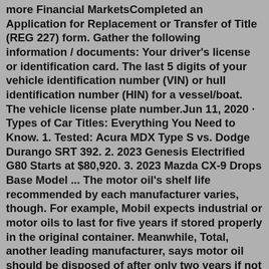more Financial MarketsCompleted an Application for Replacement or Transfer of Title (REG 227) form. Gather the following information / documents: Your driver's license or identification card. The last 5 digits of your vehicle identification number (VIN) or hull identification number (HIN) for a vessel/boat. The vehicle license plate number.Jun 11, 2020 · Types of Car Titles: Everything You Need to Know. 1. Tested: Acura MDX Type S vs. Dodge Durango SRT 392. 2. 2023 Genesis Electrified G80 Starts at $80,920. 3. 2023 Mazda CX-9 Drops Base Model ... The motor oil's shelf life recommended by each manufacturer varies, though. For example, Mobil expects industrial or motor oils to last for five years if stored properly in the original container. Meanwhile, Total, another leading manufacturer, says motor oil should be disposed of after only two years if not used.Please give us a call toll free at 800-333-5823, send us an email at Contact@lubegard.com or fill out the form here: Contact Us!Buy soft satin slip dresses from Nasty Gal